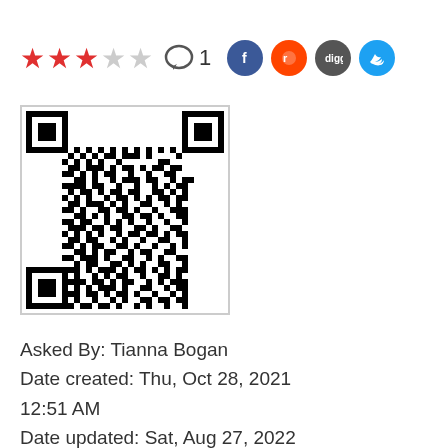[Figure (other): Star rating: 3 out of 5 stars (3 filled red stars, 2 empty stars), comment icon with count 1, and social sharing icons for Facebook, Reddit, Digg, and Twitter]
[Figure (other): QR code image]
Asked By: Tianna Bogan
Date created: Thu, Oct 28, 2021 12:51 AM
Date updated: Sat, Aug 27, 2022 4:22 PM